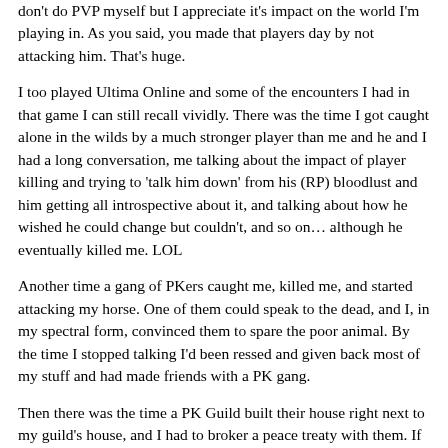don't do PVP myself but I appreciate it's impact on the world I'm playing in. As you said, you made that players day by not attacking him. That's huge.
I too played Ultima Online and some of the encounters I had in that game I can still recall vividly. There was the time I got caught alone in the wilds by a much stronger player than me and he and I had a long conversation, me talking about the impact of player killing and trying to 'talk him down' from his (RP) bloodlust and him getting all introspective about it, and talking about how he wished he could change but couldn't, and so on… although he eventually killed me. LOL
Another time a gang of PKers caught me, killed me, and started attacking my horse. One of them could speak to the dead, and I, in my spectral form, convinced them to spare the poor animal. By the time I stopped talking I'd been ressed and given back most of my stuff and had made friends with a PK gang.
Then there was the time a PK Guild built their house right next to my guild's house, and I had to broker a peace treaty with them. If they'd leave us be, we'd promise not to jump them as they teleported home, beaten and bloody, from a PK battle somewhere that went wrong.It worked for both of us